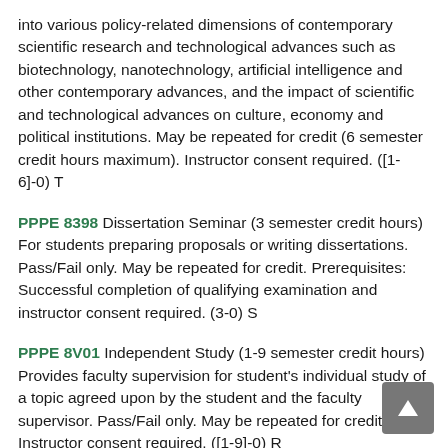into various policy-related dimensions of contemporary scientific research and technological advances such as biotechnology, nanotechnology, artificial intelligence and other contemporary advances, and the impact of scientific and technological advances on culture, economy and political institutions. May be repeated for credit (6 semester credit hours maximum). Instructor consent required. ([1-6]-0) T
PPPE 8398 Dissertation Seminar (3 semester credit hours) For students preparing proposals or writing dissertations. Pass/Fail only. May be repeated for credit. Prerequisites: Successful completion of qualifying examination and instructor consent required. (3-0) S
PPPE 8V01 Independent Study (1-9 semester credit hours) Provides faculty supervision for student's individual study of a topic agreed upon by the student and the faculty supervisor. Pass/Fail only. May be repeated for credit. Instructor consent required. ([1-9]-0) R